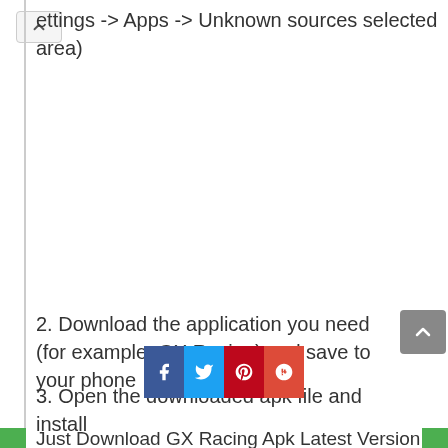ettings -> Apps -> Unknown sources selected area)
2. Download the application you need (for example: GX Racing) and save to your phone
3. Open the downloaded apk file and install
Just Download GX Racing Apk Latest Version For PC Windows 7,8,10 Now!To Download GX Racing For PC users need to install an Android